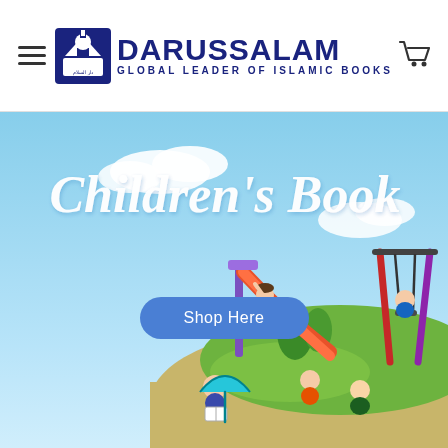Darussalam – Global Leader of Islamic Books
[Figure (illustration): Children's Book promotional banner showing animated children playing on a playground (slide, swings) with a sky background. Text reads 'Children's Book' in cursive white lettering. A blue rounded button labeled 'Shop Here' is displayed in the center of the banner.]